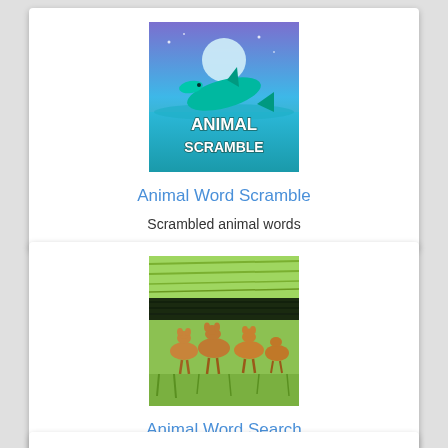[Figure (illustration): App icon for Animal Word Scramble showing a dolphin leaping over water with text 'ANIMAL SCRAMBLE' on a blue/teal gradient background]
Animal Word Scramble
Scrambled animal words
[Figure (photo): Photo of a herd of deer/antelopes resting in a grassy field with green grass and dark horizontal band in background]
Animal Word Search
Find the words tiger, lion, money, bear, house, dear, elephant, fox, zebra and wolf in this game.